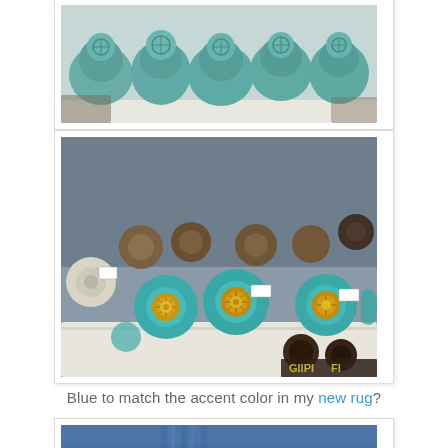[Figure (photo): Partial top photo showing teal/turquoise ceramic decorative knobs or figurines with embossed floral patterns, displayed in a white dish or tray, cropped at top of page.]
[Figure (photo): Photo of a collection of turquoise/teal ceramic cabinet knobs with gold/bronze metal centers displayed in a white tray in a store. Some white and brown knobs also visible. Price tags attached. Store signage partially visible at bottom.]
Blue to match the accent color in my new rug?
[Figure (photo): Partial bottom photo showing blue-toned image, partially cropped, appears to be another decorative item or room photo.]